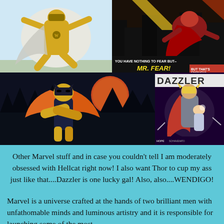[Figure (illustration): Collage of four Marvel comic book images: top-left shows a flying superhero (Wolverine-era character in gold/white), top-right shows a Mr. Fear comic panel with dark dramatic art and text 'YOU HAVE NOTHING TO FEAR BUT-- MR. FEAR! BUT THAT'S ENOUGH!', bottom-left shows Hellcat character in orange and black costume against a night sky with red moon, bottom-right shows a Dazzler comic cover with Thor holding a female character, lightning effects]
Other Marvel stuff and in case you couldn't tell I am moderately obsessed with Hellcat right now! I also want Thor to cup my ass just like that....Dazzler is one lucky gal! Also, also....WENDIGO!
Marvel is a universe crafted at the hands of two brilliant men with unfathomable minds and luminous artistry and it is responsible for launching some of the most